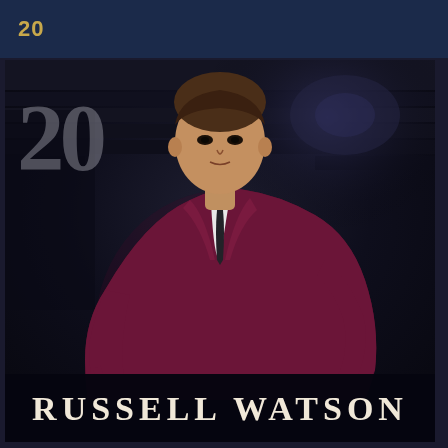20
[Figure (photo): Album cover for Russell Watson's '20' album. A man in a burgundy/maroon suit with white dress shirt and dark tie leans forward on a chair, photographed in a dark theater setting. The large number '20' appears in translucent silver in the upper left corner. The artist name 'RUSSELL WATSON' appears in large serif letters at the bottom of the image.]